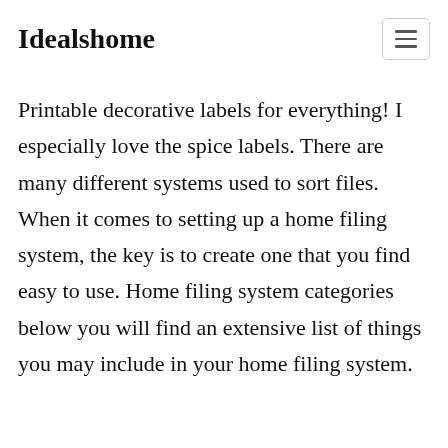Idealshome
Printable decorative labels for everything! I especially love the spice labels. There are many different systems used to sort files. When it comes to setting up a home filing system, the key is to create one that you find easy to use. Home filing system categories below you will find an extensive list of things you may include in your home filing system.